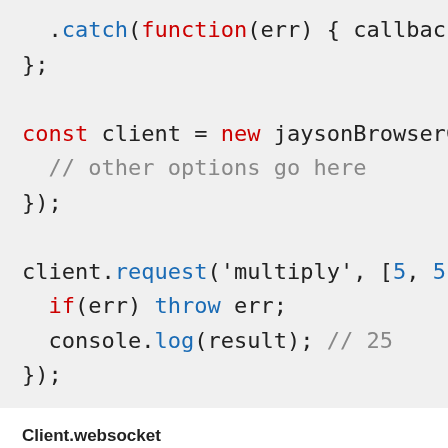.catch(function(err) { callback(e
};

const client = new jaysonBrowserClien
  // other options go here
});

client.request('multiply', [5, 5], fu
  if(err) throw err;
  console.log(result); // 25
});
Client.websocket
Since v3.6.4
Experimental websocket client that wraps around an